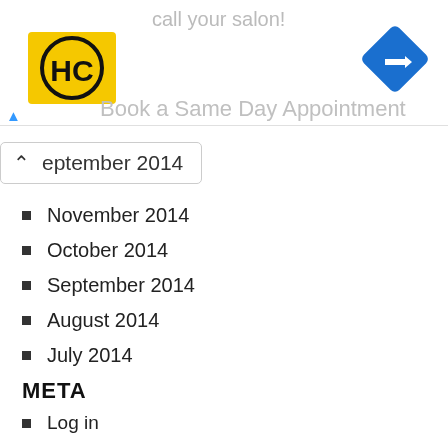[Figure (infographic): Advertisement banner with HC logo (yellow background, black HC letters) and a blue diamond navigation arrow icon. Text reads 'call your salon!' and 'Book a Same Day Appointment' in grey. A close button with upward chevron and X icon appears on the left.]
eptember 2014
November 2014
October 2014
September 2014
August 2014
July 2014
META
Log in
Entries feed
Comments feed
WordPress.org